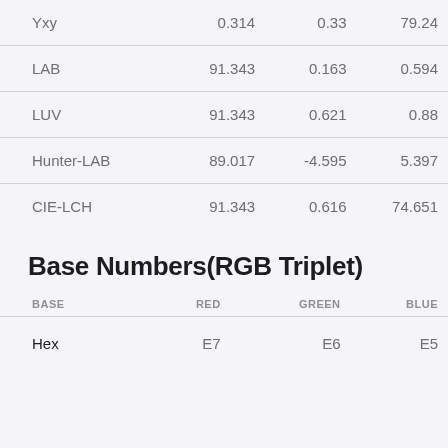|  |  |  |  |
| --- | --- | --- | --- |
| Yxy | 0.314 | 0.33 | 79.24 |
| LAB | 91.343 | 0.163 | 0.594 |
| LUV | 91.343 | 0.621 | 0.88 |
| Hunter-LAB | 89.017 | -4.595 | 5.397 |
| CIE-LCH | 91.343 | 0.616 | 74.651 |
Base Numbers(RGB Triplet)
| BASE | RED | GREEN | BLUE |
| --- | --- | --- | --- |
| Hex | E7 | E6 | E5 |